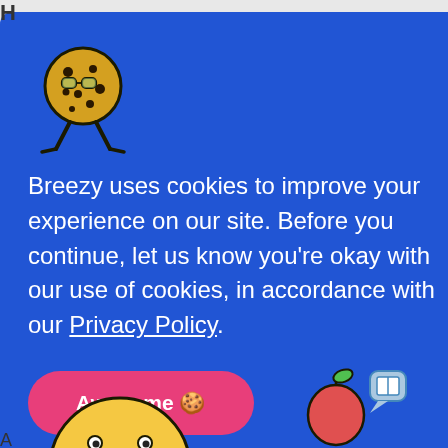[Figure (illustration): Cookie character with glasses and legs (Breezy mascot)]
Breezy uses cookies to improve your experience on our site. Before you continue, let us know you're okay with our use of cookies, in accordance with our Privacy Policy.
Awesome 🍪
[Figure (illustration): Toast character illustration on right side]
YERS
Why We
eality
[Figure (illustration): Bottom face/character partially visible]
[Figure (illustration): Apple character and chat icon on bottom right]